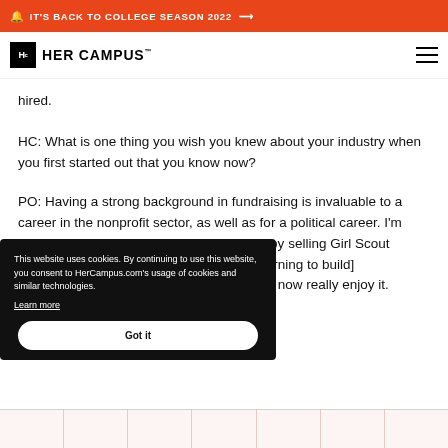🔔 IT'S BACK TO COLLEGE SEASON 2022 →
[Figure (logo): Her Campus logo with Hc box and text HER CAMPUS]
hired.
HC: What is one thing you wish you knew about your industry when you first started out that you know now?
PO: Having a strong background in fundraising is invaluable to a career in the nonprofit sector, as well as for a political career. I'm glad I was able to first acquire these skills by selling Girl [Scout cookies].  While I originally hated [it, I learned to build] relationships with people to [the point where I] actually now really enjoy it.
This website uses cookies. By continuing to use this website, you consent to HerCampus.com's usage of cookies and similar technologies. Learn more
Got it